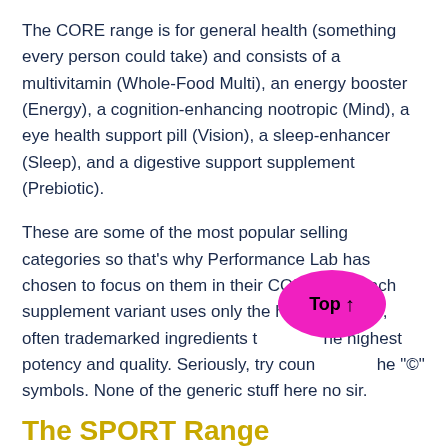The CORE range is for general health (something every person could take) and consists of a multivitamin (Whole-Food Multi), an energy booster (Energy), a cognition-enhancing nootropic (Mind), a eye health support pill (Vision), a sleep-enhancer (Sleep), and a digestive support supplement (Prebiotic).
These are some of the most popular selling categories so that's why Performance Lab has chosen to focus on them in their CORE line. Each supplement variant uses only the highest quality, often trademarked ingredients t he highest potency and quality. Seriously, try coun he "©" symbols. None of the generic stuff here no sir.
[Figure (other): A magenta/pink oval button with 'Top ↑' text in black, overlaid on the text]
The SPORT Range